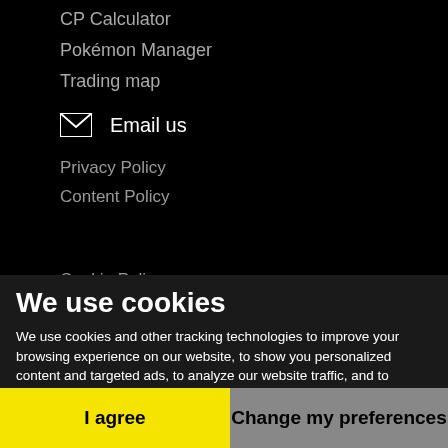CP Calculator
Pokémon Manager
Trading map
Email us
Privacy Policy
Content Policy
Cookie Policy
We use cookies
We use cookies and other tracking technologies to improve your browsing experience on our website, to show you personalized content and targeted ads, to analyze our website traffic, and to understand where our visitors are coming from. By browsing our website, you consent to our use of cookies and other tracking technologies.
I agree
Change my preferences